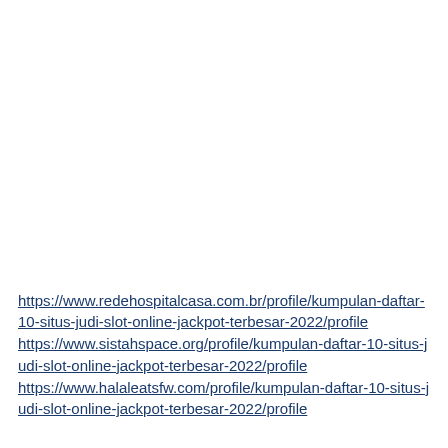https://www.redehospitalcasa.com.br/profile/kumpulan-daftar-10-situs-judi-slot-online-jackpot-terbesar-2022/profile https://www.sistahspace.org/profile/kumpulan-daftar-10-situs-judi-slot-online-jackpot-terbesar-2022/profile https://www.halaleatsfw.com/profile/kumpulan-daftar-10-situs-judi-slot-online-jackpot-terbesar-2022/profile